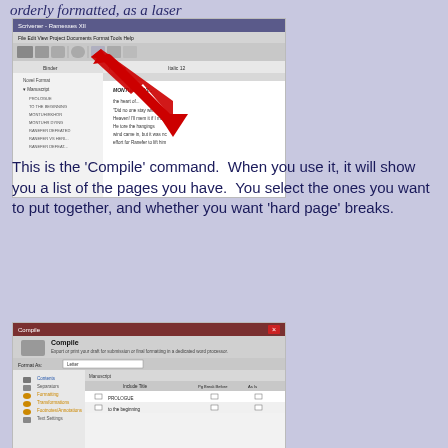orderly formatted, as a laser
[Figure (screenshot): Scrivener application window showing manuscript binder with items including PROLOGUE, TO THE BEGINNING, MONTUHIRKHOR, MONTUHR DYING, RANEFER DEFEATED, RANEFER VS HERI, RANEFER DEFEAT. A red arrow points to a toolbar icon (the Compile command). The editor shows text from a document.]
This is the 'Compile' command.  When you use it, it will show you a list of the pages you have.  You select the ones you want to put together, and whether you want 'hard page' breaks.
[Figure (screenshot): Scrivener Compile dialog window showing compile options with Contents, Separators, Formatting, Transformations, Footnotes/Annotations, Text Settings sections on left, and a manuscript list on the right with PROLOGUE and TO THE BEGINNING entries with checkboxes for Pg Break Before and As-Is columns.]